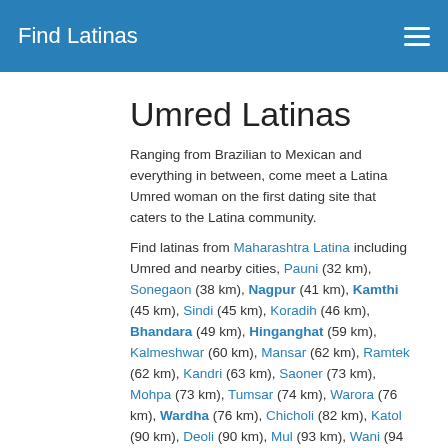Find Latinas
Umred Latinas
Ranging from Brazilian to Mexican and everything in between, come meet a Latina Umred woman on the first dating site that caters to the Latina community.
Find latinas from Maharashtra Latina including Umred and nearby cities, Pauni (32 km), Sonegaon (38 km), Nagpur (41 km), Kamthi (45 km), Sindi (45 km), Koradih (46 km), Bhandara (49 km), Hinganghat (59 km), Kalmeshwar (60 km), Mansar (62 km), Ramtek (62 km), Kandri (63 km), Saoner (73 km), Mohpa (73 km), Tumsar (74 km), Warora (76 km), Wardha (76 km), Chicholi (82 km), Katol (90 km), Deoli (90 km), Mul (93 km), Wani (94 km), Lodhikheda (97 km).